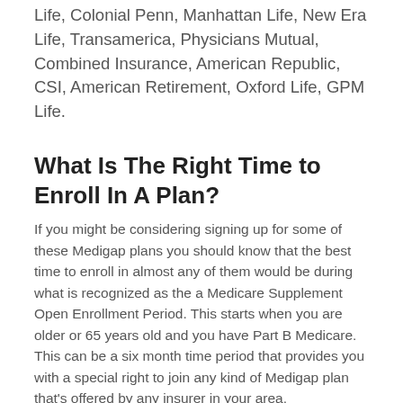Life, Colonial Penn, Manhattan Life, New Era Life, Transamerica, Physicians Mutual, Combined Insurance, American Republic, CSI, American Retirement, Oxford Life, GPM Life.
What Is The Right Time to Enroll In A Plan?
If you might be considering signing up for some of these Medigap plans you should know that the best time to enroll in almost any of them would be during what is recognized as the a Medicare Supplement Open Enrollment Period. This starts when you are older or 65 years old and you have Part B Medicare. This can be a six month time period that provides you with a special right to join any kind of Medigap plan that's offered by any insurer in your area.